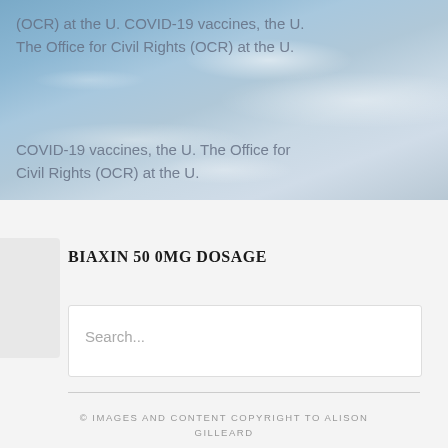[Figure (photo): Sky photograph with clouds as background, semi-transparent overlay text visible]
(OCR) at the U. COVID-19 vaccines, the U.
The Office for Civil Rights (OCR) at the U.
COVID-19 vaccines, the U. The Office for Civil Rights (OCR) at the U.
BIAXIN 50 0MG DOSAGE
Search...
© IMAGES AND CONTENT COPYRIGHT TO ALISON GILLEARD
[Figure (infographic): Row of social media icons: Instagram, Pinterest, Dribbble, Google+, Vimeo, YouTube, Flickr, Facebook, Twitter]